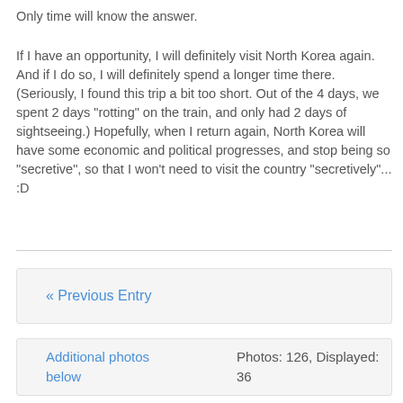Only time will know the answer.
If I have an opportunity, I will definitely visit North Korea again. And if I do so, I will definitely spend a longer time there. (Seriously, I found this trip a bit too short. Out of the 4 days, we spent 2 days "rotting" on the train, and only had 2 days of sightseeing.) Hopefully, when I return again, North Korea will have some economic and political progresses, and stop being so "secretive", so that I won't need to visit the country "secretively"... :D
« Previous Entry
Additional photos below    Photos: 126, Displayed: 36